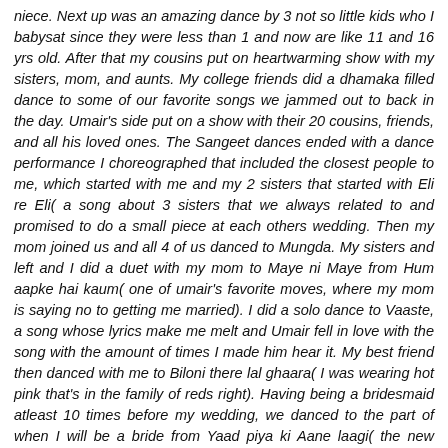niece. Next up was an amazing dance by 3 not so little kids who I babysat since they were less than 1 and now are like 11 and 16 yrs old. After that my cousins put on heartwarming show with my sisters, mom, and aunts. My college friends did a dhamaka filled dance to some of our favorite songs we jammed out to back in the day. Umair's side put on a show with their 20 cousins, friends, and all his loved ones. The Sangeet dances ended with a dance performance I choreographed that included the closest people to me, which started with me and my 2 sisters that started with Eli re Eli( a song about 3 sisters that we always related to and promised to do a small piece at each others wedding. Then my mom joined us and all 4 of us danced to Mungda. My sisters and left and I did a duet with my mom to Maye ni Maye from Hum aapke hai kaum( one of umair's favorite moves, where my mom is saying no to getting me married). I did a solo dance to Vaaste, a song whose lyrics make me melt and Umair fell in love with the song with the amount of times I made him hear it. My best friend then danced with me to Biloni there lal ghaara( I was wearing hot pink that's in the family of reds right). Having being a bridesmaid atleast 10 times before my wedding, we danced to the part of when I will be a bride from Yaad piya ki Aane laagi( the new version) and Ghenda Phool by Badshah with my bridesmaids. The next song was extra special, as it is Umair's all time favorite Movie/song and I have no clue why. He always told me he wished he could be Ram Jaane.